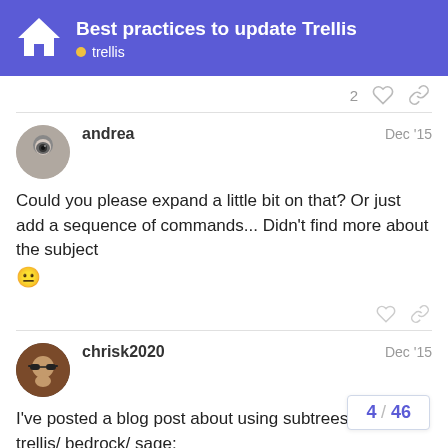Best practices to update Trellis · trellis
2 ♡ 🔗
andrea   Dec '15
Could you please expand a little bit on that? Or just add a sequence of commands... Didn't find more about the subject 😐
chrisk2020   Dec '15
I've posted a blog post about using subtrees with trellis/ bedrock/ sage:
using git subtrees  651
4 / 46